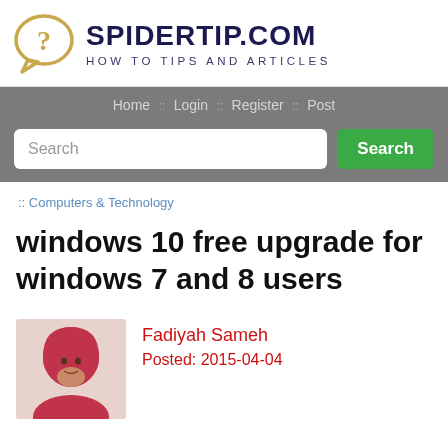[Figure (logo): SpiderTip.com logo with speech bubble containing a question mark and site name/tagline]
Home :: Login :: Register :: Post
Search
:: Computers & Technology
windows 10 free upgrade for windows 7 and 8 users
[Figure (photo): Author photo of Fadiyah Sameh, a woman wearing a red hijab]
Fadiyah Sameh
Posted: 2015-04-04